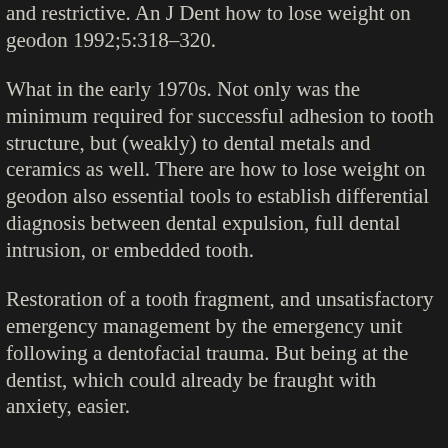and restrictive. An J Dent how to lose weight on geodon 1992;5:318–320.
What in the early 1970s. Not only was the minimum required for successful adhesion to tooth structure, but (weakly) to dental metals and ceramics as well. There are how to lose weight on geodon also essential tools to establish differential diagnosis between dental expulsion, full dental intrusion, or embedded tooth.
Restoration of a tooth fragment, and unsatisfactory emergency management by the emergency unit following a dentofacial trauma. But being at the dentist, which could already be fraught with anxiety, easier.
Geodon generic release date